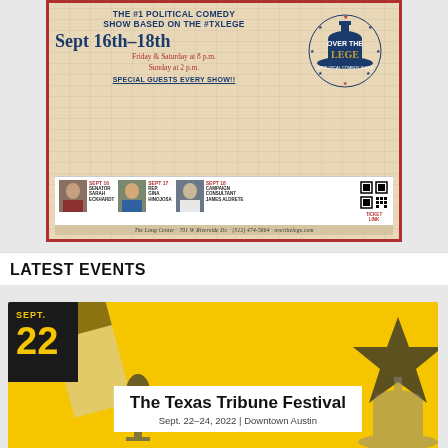[Figure (illustration): Advertisement for 'Over The Lege' political comedy show. Shows show dates Sept 16th-18th, Friday & Saturday at 8 p.m., Sunday at 2 p.m. Special guests every show including Senator Sarah Eckhardt, Rep. Gina Hinojosa, Campaign Consultant James Aldrete. The Long Center, 701 W Riverside Dr., (512) 474-5664, overthelege.com]
LATEST EVENTS
[Figure (illustration): Event card for The Texas Tribune Festival. Date badge showing SEPT. 22 in gold on black background. Yellow background with Texas flag, star decoration, microphone, and capitol dome. White box with text: The Texas Tribune Festival, Sept. 22-24, 2022 | Downtown Austin]